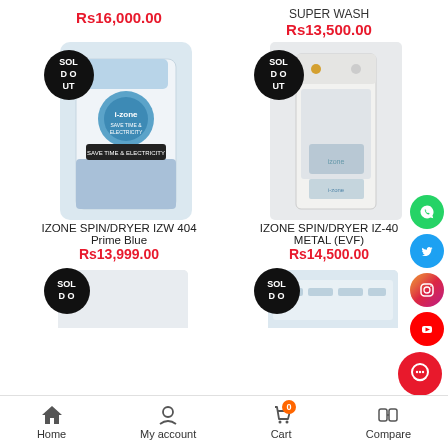Rs16,000.00
SUPER WASH
Rs13,500.00
[Figure (photo): i-zone washing machine / spin dryer in white and blue color with SOLD OUT badge]
[Figure (photo): izone spin dryer top-loading white metal appliance with SOLD OUT badge]
IZONE SPIN/DRYER IZW 404 Prime Blue
Rs13,999.00
IZONE SPIN/DRYER IZ-40 METAL (EVF)
Rs14,500.00
[Figure (photo): Partial product image at bottom left with SOLD DO badge]
[Figure (photo): Partial product image at bottom right with SOLD DO badge]
Home | My account | Cart 0 | Compare